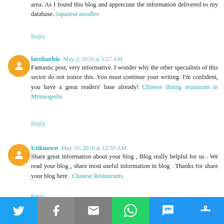area. As I found this blog and appreciate the information delivered to my database. Japanese noodles
Reply
larobarbie May 2, 2018 at 5:17 AM
Fantastic post, very informative. I wonder why the other specialists of this sector do not notice this. You must continue your writing. I'm confident, you have a great readers' base already! Chinese dining restaurant in Minneapolis
Reply
Unknown May 16, 2018 at 12:50 AM
Share great information about your blog , Blog really helpful for us . We read your blog , share most useful information in blog . Thanks for share your blog here . Chinese Restaurants
Reply
[Figure (infographic): Social sharing bar with Twitter, Facebook, Email, WhatsApp, SMS, and More buttons]